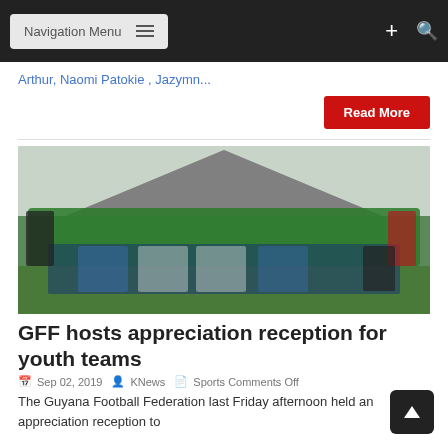Navigation Menu
Arthur, Naomi Patokie , Jazymn...
Read More
[Figure (photo): Group photo of Guyana national youth football team players in green jerseys, seated and standing under a tent, with officials.]
GFF hosts appreciation reception for youth teams
Sep 02, 2019  KNews  Sports Comments Off
The Guyana Football Federation last Friday afternoon held an appreciation reception to